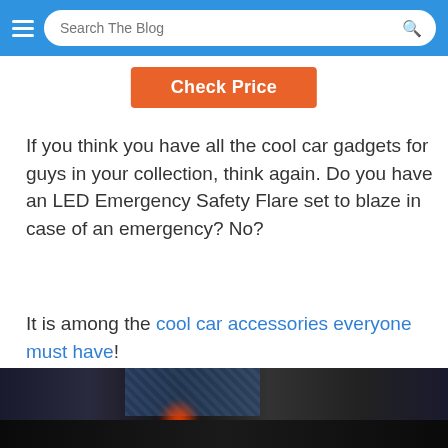Search The Blog
Check Price
If you think you have all the cool car gadgets for guys in your collection, think again. Do you have an LED Emergency Safety Flare set to blaze in case of an emergency? No?
It is among the cool car accessories everyone must have!
26. Safety Flare Light Is One Of The Cool Gadgets For Men When Traveling
[Figure (photo): Night scene photo showing a person holding a red LED safety flare near a car]